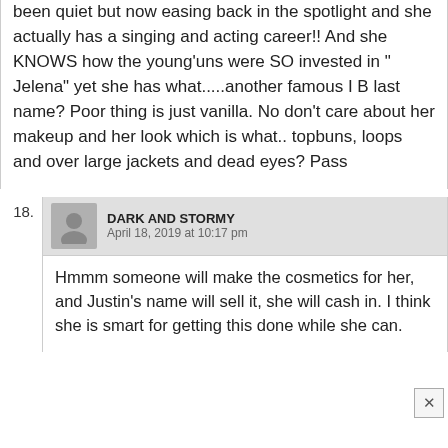been quiet but now easing back in the spotlight and she actually has a singing and acting career!! And she KNOWS how the young'uns were SO invested in " Jelena" yet she has what.....another famous l B last name? Poor thing is just vanilla. No don't care about her makeup and her look which is what.. topbuns, loops and over large jackets and dead eyes? Pass
18. DARK AND STORMY
April 18, 2019 at 10:17 pm
Hmmm someone will make the cosmetics for her, and Justin's name will sell it, she will cash in. I think she is smart for getting this done while she can.